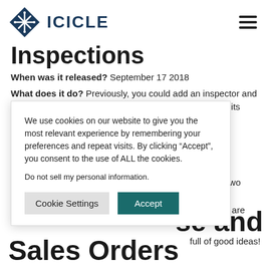[Figure (logo): ICICLE logo with diamond shape containing snowflake/asterisk icon and text ICICLE in dark blue]
Inspections
When was it released? September 17 2018
What does it do? Previously, you could add an inspector and finalize a record for an inspection. In order to make audits pass even more [partially obscured] ring an inspection [partially obscured] it. These two extra [partially obscured] that you are [partially obscured] full of good ideas!
We use cookies on our website to give you the most relevant experience by remembering your preferences and repeat visits. By clicking “Accept”, you consent to the use of ALL the cookies.
Do not sell my personal information.
Cookie Settings  Accept
se and
Sales Orders